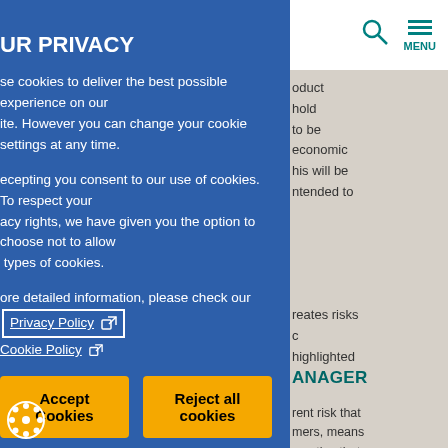UR PRIVACY
se cookies to deliver the best possible experience on our site. However you can change your cookie settings at any time.
ecepting you consent to our use of cookies. To respect your acy rights, we have given you the option to choose not to allow types of cookies.
ore detailed information, please check our Privacy Policy [link] Cookie Policy [link]
Accept Cookies | Reject all cookies
ICTLY NECESSARY COOKIES
ookies are essential to enable you to move around our nd to allow the features of the sites to work correctly. services you request – such as navigating between provided and you may experience some problems
ANAGER
rent risk that mers, means n notice that -resourced s.